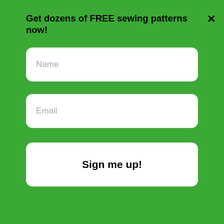Get dozens of FREE sewing patterns now!
Name
Email
Sign me up!
y
[Figure (illustration): Heart icon in green circle]
Post Comment
[Figure (illustration): Share icon in green rounded square]
WHAT'S NEXT → How to Sew a Pillowcase...
[Figure (photo): Thumbnail photo of person holding pillow]
[Figure (screenshot): CVS Pharmacy advertisement banner with text: In-store shopping, Drive-through, Delivery]
In-store shopping  Drive-through  Delivery